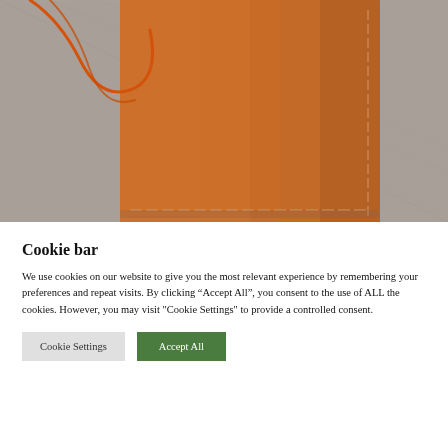[Figure (photo): Close-up photograph of a tan/cognac leather wallet or notebook cover with visible stitching along the edges, placed on a grey linen fabric background. An orange thread or cord is visible in the upper left corner.]
Cookie bar
We use cookies on our website to give you the most relevant experience by remembering your preferences and repeat visits. By clicking “Accept All”, you consent to the use of ALL the cookies. However, you may visit "Cookie Settings" to provide a controlled consent.
Cookie Settings
Accept All